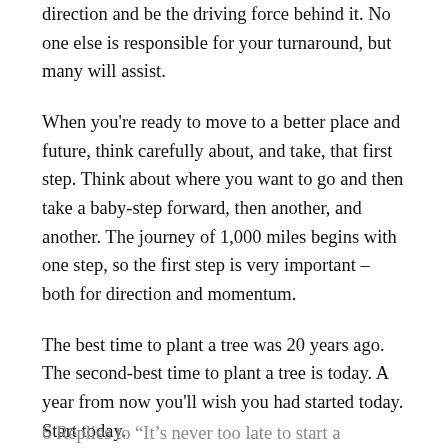direction and be the driving force behind it. No one else is responsible for your turnaround, but many will assist.
When you’re ready to move to a better place and future, think carefully about, and take, that first step. Think about where you want to go and then take a baby-step forward, then another, and another. The journey of 1,000 miles begins with one step, so the first step is very important – both for direction and momentum.
The best time to plant a tree was 20 years ago. The second-best time to plant a tree is today. A year from now you’ll wish you had started today. Start today.
[reminder]What are your thoughts about this essay? [/reminder]
6 Replies to “It’s never too late to start a